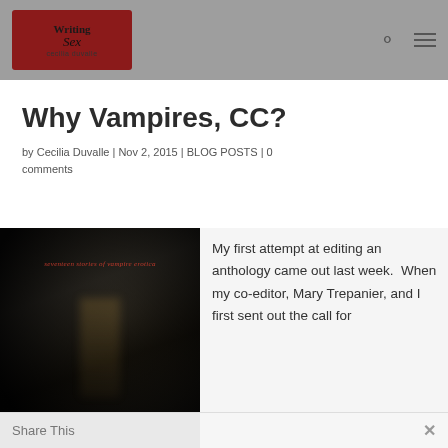Writing Sex — site header with logo, search icon, and menu icon
Why Vampires, CC?
by Cecilia Duvalle | Nov 2, 2015 | BLOG POSTS | 0 comments
[Figure (photo): Book cover showing dark alley, with red italic text 'seventeen stories of vampire erotica' at top]
My first attempt at editing an anthology came out last week.  When my co-editor, Mary Trepanier, and I first sent out the call for